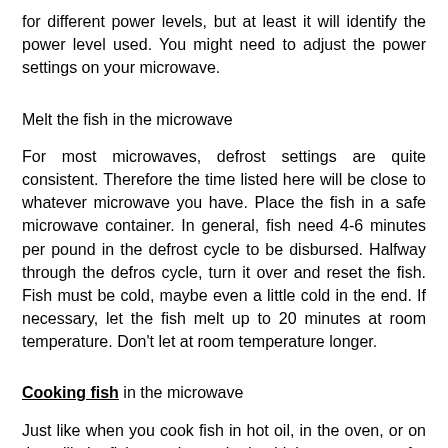for different power levels, but at least it will identify the power level used. You might need to adjust the power settings on your microwave.
Melt the fish in the microwave
For most microwaves, defrost settings are quite consistent. Therefore the time listed here will be close to whatever microwave you have. Place the fish in a safe microwave container. In general, fish need 4-6 minutes per pound in the defrost cycle to be disbursed. Halfway through the defros cycle, turn it over and reset the fish. Fish must be cold, maybe even a little cold in the end. If necessary, let the fish melt up to 20 minutes at room temperature. Don't let at room temperature longer.
Cooking fish in the microwave
Just like when you cook fish in hot oil, in the oven, or on the grill, the fish must be cooked at high temperatures for a relatively short period. Fish will get the nutrients deleted for longer than the